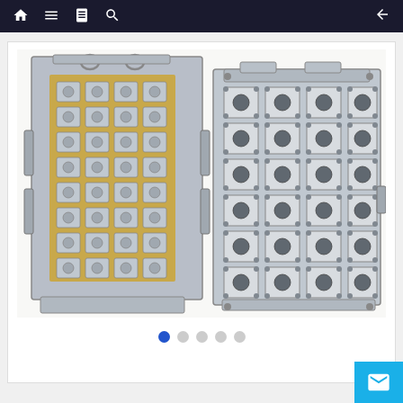Navigation bar with home, menu, book, search, and back icons
[Figure (photo): Two injection mold tooling assemblies shown side by side. Left mold shows the core/cavity side with golden bronze bushings and silver steel components arranged in a rectangular grid pattern with multiple rows of ejector pins and sliding mechanisms. Right mold shows the cavity plate side with a 4x6 grid of square cavity inserts, each featuring a central circular gate and four corner holes, all in silver/grey steel.]
[Figure (other): Carousel navigation dots: 5 dots total, first dot is filled blue (active), remaining four are grey (inactive)]